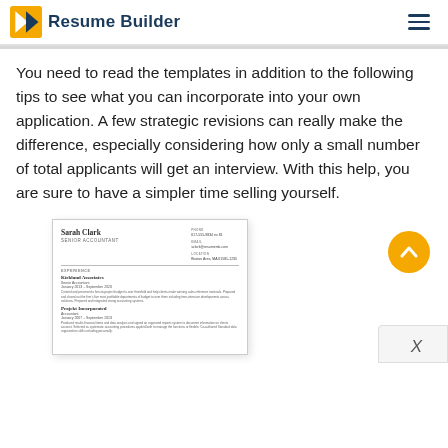Resume Builder
You need to read the templates in addition to the following tips to see what you can incorporate into your own application. A few strategic revisions can really make the difference, especially considering how only a small number of total applicants will get an interview. With this help, you are sure to have a simpler time selling yourself.
[Figure (screenshot): A resume template preview showing Sarah Clark, Senior Accountant, with experience sections for Kirkland Associates and Projekt Incorporated]
[Figure (illustration): Yellow circular scroll-to-top button with upward chevron arrow]
X